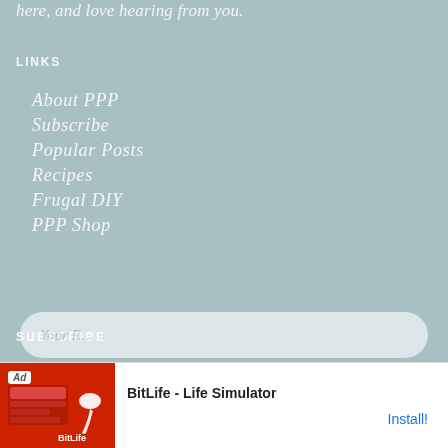here, and love hearing from you.
LINKS
About PPP
Subscribe
Popular Posts
Recipes
Frugal DIY
PPP Shop
SUBSCRIBE
Your Name
Your E...
[Figure (screenshot): Ad banner for BitLife - Life Simulator app with red background, showing 'Ad' badge, BitLife logo with sperm icon, and Install! button]